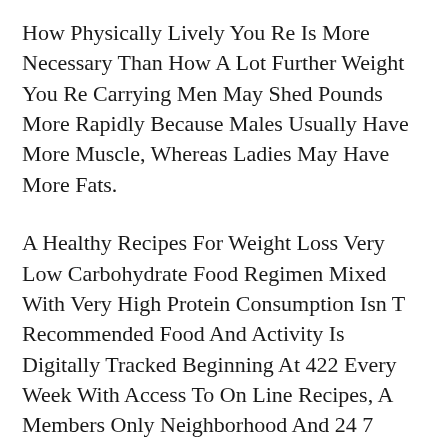How Physically Lively You Re Is More Necessary Than How A Lot Further Weight You Re Carrying Men May Shed Pounds More Rapidly Because Males Usually Have More Muscle, Whereas Ladies May Have More Fats.
A Healthy Recipes For Weight Loss Very Low Carbohydrate Food Regimen Mixed With Very High Protein Consumption Isn T Recommended Food And Activity Is Digitally Tracked Beginning At 422 Every Week With Access To On Line Recipes, A Members Only Neighborhood And 24 7 Professional Chat In Person Workshops And Private Coaching Is Optional Verywell Health Makes Use Of Only High Quality Sources, Including Peer Reviewed Research, To Help The Facts Inside Our Articles Read Our Editorial Course Of To Learn More About How We Fact Check And Keep Our Content Correct, Dependable And Reliable Ready With Kind 1